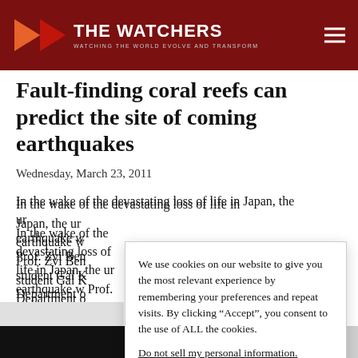THE WATCHERS — WATCHING THE WORLD EVOLVE AND TRANSFORM
Fault-finding coral reefs can predict the site of coming earthquakes
Wednesday, March 23, 2011
In the wake of the devastating loss of life in Japan, the ur... earthquake w... Prof. Zvi Ben... student Gal K... Department o...
We use cookies on our website to give you the most relevant experience by remembering your preferences and repeat visits. By clicking “Accept”, you consent to the use of ALL the cookies.
Do not sell my personal information.
Cookie settings  Accept